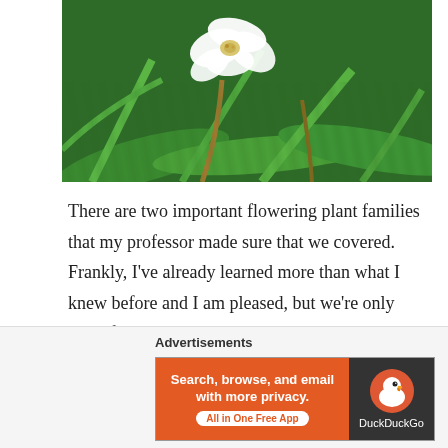[Figure (photo): Photograph of a white orchid flower surrounded by green tropical foliage and long narrow leaves]
There are two important flowering plant families that my professor made sure that we covered. Frankly, I've already learned more than what I knew before and I am pleased, but we're only part of the way through so I'll continue to let you know what I know or I am learning.
Advertisements
[Figure (screenshot): DuckDuckGo advertisement banner: orange left panel with text 'Search, browse, and email with more privacy. All in One Free App' and dark right panel with DuckDuckGo logo and duck icon]